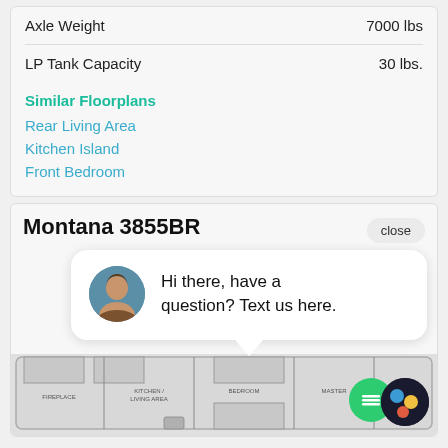| Spec | Value |
| --- | --- |
| Axle Weight | 7000 lbs |
| LP Tank Capacity | 30 lbs. |
Similar Floorplans
Rear Living Area
Kitchen Island
Front Bedroom
Montana 3855BR
close
[Figure (screenshot): Chat popup with avatar photo of a woman and text: Hi there, have a question? Text us here.]
3855BR
[Figure (schematic): RV floorplan diagram for Montana 3855BR showing room layout including front bedroom, kitchen island, living area, and other spaces]